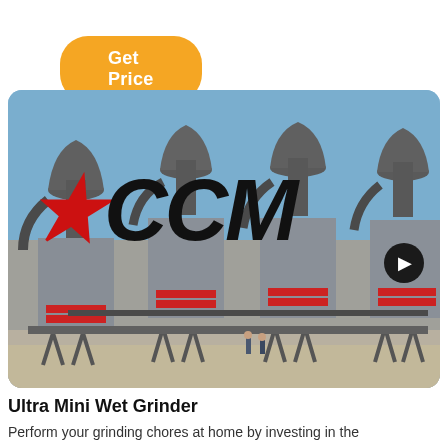Get Price
[Figure (photo): Industrial grinding mill equipment (CCM brand) — multiple large cylindrical grinding mills with dust collectors and cyclone separators arranged in a row outdoors under a blue sky. The CCM logo with a red star appears overlaid on the image.]
Ultra Mini Wet Grinder
Perform your grinding chores at home by investing in the